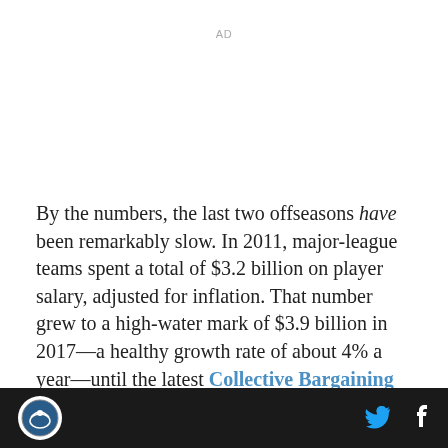AD
By the numbers, the last two offseasons have been remarkably slow. In 2011, major-league teams spent a total of $3.2 billion on player salary, adjusted for inflation. That number grew to a high-water mark of $3.9 billion in 2017—a healthy growth rate of about 4% a year—until the latest Collective Bargaining Agreement (CBA) took effect. Since then, total...